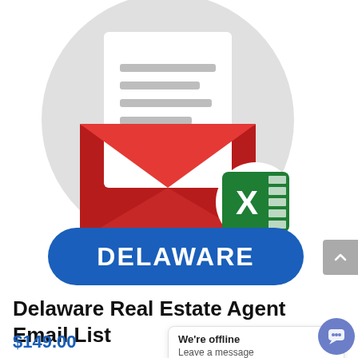[Figure (illustration): Red open envelope with a white letter/document inside, on a light gray circular background. An Excel (X) logo badge is overlaid on the bottom-right of the envelope.]
DELAWARE
Delaware Real Estate Agent Email List
$149.00
We're offline
Leave a message